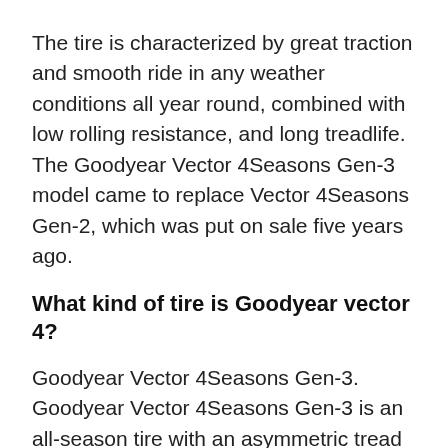The tire is characterized by great traction and smooth ride in any weather conditions all year round, combined with low rolling resistance, and long treadlife. The Goodyear Vector 4Seasons Gen-3 model came to replace Vector 4Seasons Gen-2, which was put on sale five years ago.
What kind of tire is Goodyear vector 4?
Goodyear Vector 4Seasons Gen-3. Goodyear Vector 4Seasons Gen-3 is an all-season tire with an asymmetric tread pattern, which the manufacturer put on the market in 2020. The